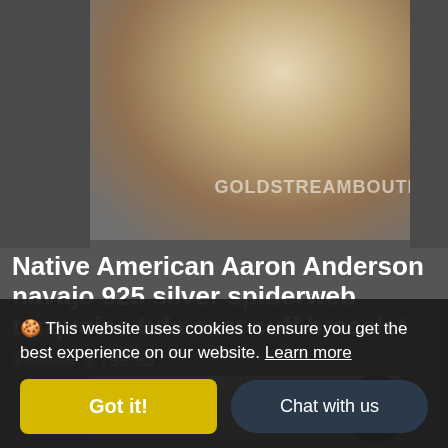[Figure (photo): Product photo of a Native American silver spiderweb turquoise tufa cast cuff bracelet on gray background, with GOLDSTREAMBOUTIQUE watermark]
Native American Aaron Anderson navajo 925 silver spiderweb turquoise tufa cast cuff bracelet
$ 999.95 $ 799.95
[Figure (photo): Second product photo showing a dark beaded necklace/bracelet with SALE badge]
🍪 This website uses cookies to ensure you get the best experience on our website. Learn more
Got it!
Chat with us